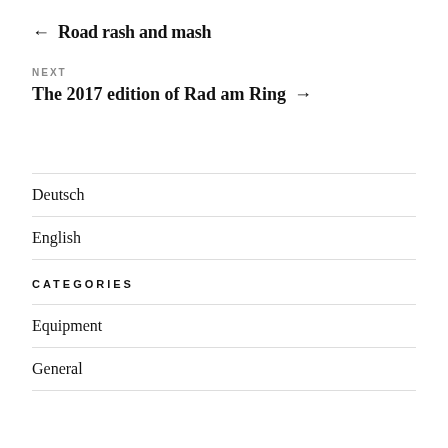← Road rash and mash
NEXT
The 2017 edition of Rad am Ring →
Deutsch
English
CATEGORIES
Equipment
General